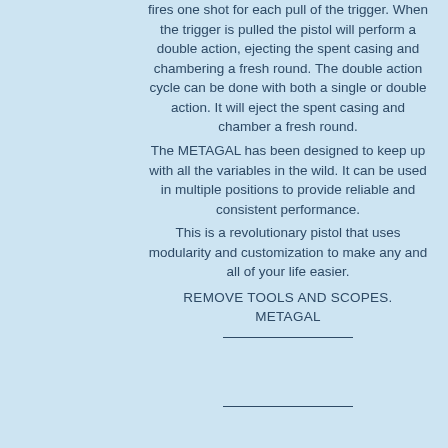fires one shot for each pull of the trigger. When the trigger is pulled the pistol will perform a double action, ejecting the spent casing and chambering a fresh round. The double action cycle can be done with both a single or double action. It will eject the spent casing and chamber a fresh round.
The METAGAL has been designed to keep up with all the variables in the wild. It can be used in multiple positions to provide reliable and consistent performance.
This is a revolutionary pistol that uses modularity and customization to make any and all of your life easier.
REMOVE TOOLS AND SCOPES.
METAGAL